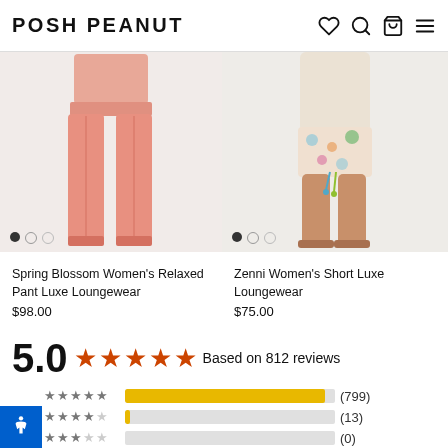POSH PEANUT
[Figure (photo): Spring Blossom Women's Relaxed Pant Luxe Loungewear product image showing pink/salmon wide-leg pants]
Spring Blossom Women's Relaxed Pant Luxe Loungewear
$98.00
[Figure (photo): Zenni Women's Short Luxe Loungewear product image showing a woman wearing floral patterned shorts]
Zenni Women's Short Luxe Loungewear
$75.00
5.0 ★★★★★ Based on 812 reviews
[Figure (bar-chart): Rating distribution]
(799)
(13)
(0)